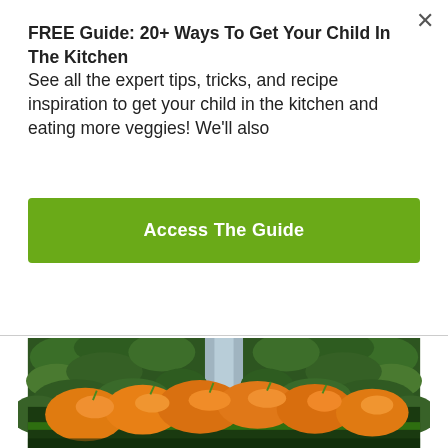FREE Guide: 20+ Ways To Get Your Child In The Kitchen See all the expert tips, tricks, and recipe inspiration to get your child in the kitchen and eating more veggies! We'll also
Access The Guide
[Figure (photo): Greenhouse interior with rows of lush green pepper plants and a conveyor or bin filled with freshly harvested orange/yellow bell peppers in the foreground.]